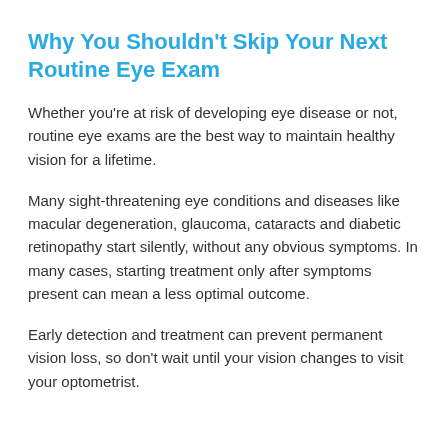Why You Shouldn’t Skip Your Next Routine Eye Exam
Whether you’re at risk of developing eye disease or not, routine eye exams are the best way to maintain healthy vision for a lifetime.
Many sight-threatening eye conditions and diseases like macular degeneration, glaucoma, cataracts and diabetic retinopathy start silently, without any obvious symptoms. In many cases, starting treatment only after symptoms present can mean a less optimal outcome.
Early detection and treatment can prevent permanent vision loss, so don’t wait until your vision changes to visit your optometrist.